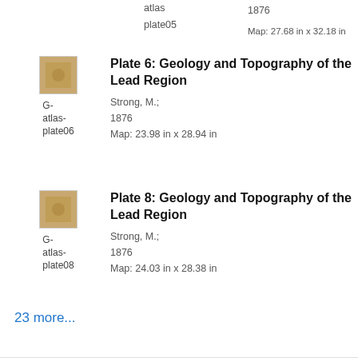atlas
plate05
Map: 27.68 in x 32.18 in
1876
[Figure (photo): Small thumbnail image of a geological map, brownish tone]
Plate 6: Geology and Topography of the Lead Region
G-atlas-plate06
Strong, M.;
1876
Map: 23.98 in x 28.94 in
[Figure (photo): Small thumbnail image of a geological map, brownish tone]
Plate 8: Geology and Topography of the Lead Region
G-atlas-plate08
Strong, M.;
1876
Map: 24.03 in x 28.38 in
23 more...